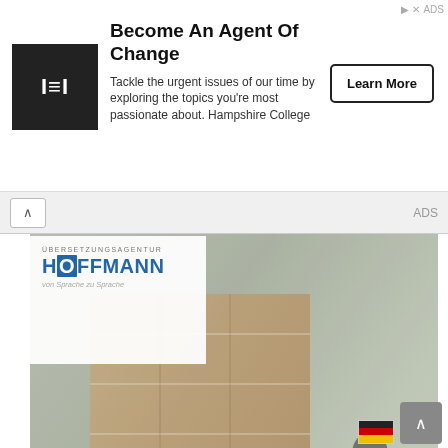[Figure (screenshot): Top advertisement banner for Hampshire College with black square logo containing 'IEI' text, headline 'Become An Agent Of Change', body text about tackling urgent issues, and a 'Learn More' button]
[Figure (photo): Warehouse/logistics scene showing a worker pulling a large pallet stacked with cardboard boxes wrapped in plastic wrap, motion blur suggesting fast movement. Hoffmann translation agency logo overlay in top-left of photo.]
This site uses cookies and gives you control over what you want to activate. You can find out how Google processes your data in Google's privacy policy.
Operational area: Europe-wide
Übersetzungsagentur Hoffmann
68259 Mannheim